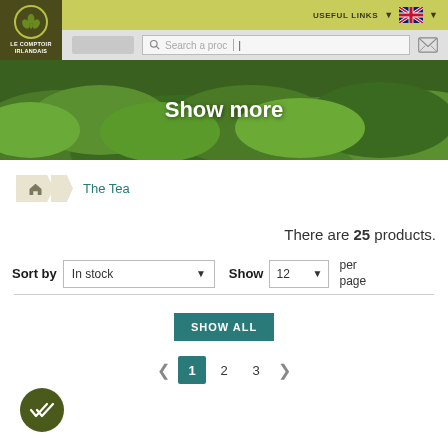[Figure (screenshot): Le Comptoir Irlandais website header with logo, useful links nav, UK flag, search bar, and hero banner showing 'Show more' over green tea field background]
The Tea
There are 25 products.
Sort by  In stock  ▾  Show  12  ▾  per page
SHOW ALL
◂  1  2  3  ▸